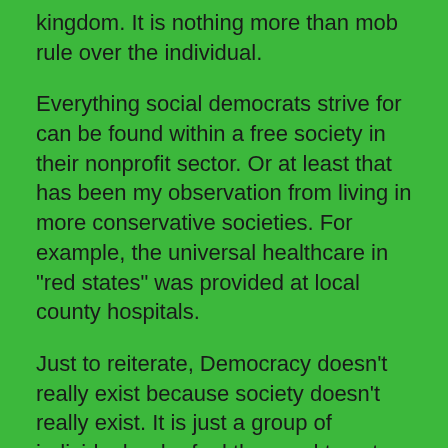kingdom.  It is nothing more than mob rule over the individual.
Everything social democrats strive for can be found within a free society in their nonprofit sector.  Or at least that has been my observation from living in more conservative societies. For example, the universal healthcare in "red states" was provided at local county hospitals.
Just to reiterate, Democracy doesn't really exist because society doesn't really exist. It is just a group of individuals who feel the need to vote for someone to have authority over them. The only real authority is the Most High who lavishes wisdom on all who seek it. We really don't need rulers but will always have a government out of convenience; it